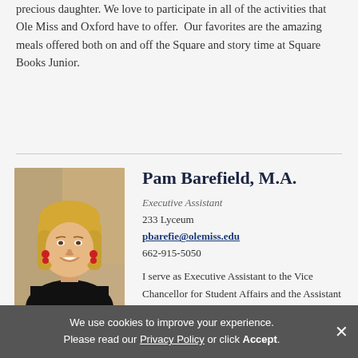precious daughter. We love to participate in all of the activities that Ole Miss and Oxford have to offer.  Our favorites are the amazing meals offered both on and off the Square and story time at Square Books Junior.
[Figure (photo): Professional headshot of Pam Barefield, a blonde woman wearing a black top and red earrings, photographed in front of a window with warm indoor lighting.]
Pam Barefield, M.A.
Executive Assistant
233 Lyceum
pbarefie@olemiss.edu
662-915-5050
I serve as Executive Assistant to the Vice Chancellor for Student Affairs and the Assistant Vice Chancellor for Student
We use cookies to improve your experience. Please read our Privacy Policy or click Accept.